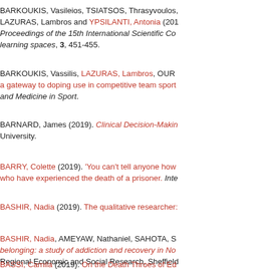BARKOUKIS, Vasileios, TSIATSOS, Thrasyvoulos, LAZURAS, Lambros and YPSILANTI, Antonia (2019). Proceedings of the 15th International Scientific Conference on e-learning spaces, 3, 451-455.
BARKOUKIS, Vassilis, LAZURAS, Lambros, OURIDA... a gateway to doping use in competitive team sport... and Medicine in Sport.
BARNARD, James (2019). Clinical Decision-Making... University.
BARRY, Colette (2019). 'You can't tell anyone how...' who have experienced the death of a prisoner. Inte...
BASHIR, Nadia (2019). The qualitative researcher:...
BASHIR, Nadia, AMEYAW, Nathaniel, SAHOTA, S... belonging: a study of addiction and recovery in No... Regional Economic and Social Research, Sheffield...
BASSI, Camila (2019). On the Death Throes of Ed...